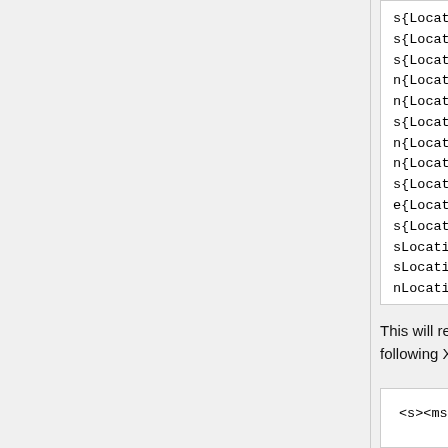s{Location|Vendor|Provider}MainZip_
s{Location|Vendor|Provider}MainCoun
s{Location|Vendor|Provider}Timezone
n{Location|Vendor|Provider}BeginHou
n{Location|Vendor|Provider}BeginMin
s{Location|Vendor|Provider}BeginHal
n{Location|Vendor|Provider}EndHour_
n{Location|Vendor|Provider}EndMin_B
s{Location|Vendor|Provider}EndHalf_
e{Location|Vendor|Provider}Founded_
s{Location|Vendor|Provider}Country_
sLocationStatus_BusinessConfigurat i
sLocationSalesTax_BusinessConfigura
nLocationSalesTaxRate_BusinessConfi
s{Vendor|Provider}Merchant_Business
s{Vendor|Provider}MerchantID_Busine
s{Location|Vendor|Provider}List_Bus
This will return all the information in the following XML layout:
<s><msg>The {Location|Vendor|Pro

OR

<f><msg>...</msg></f>